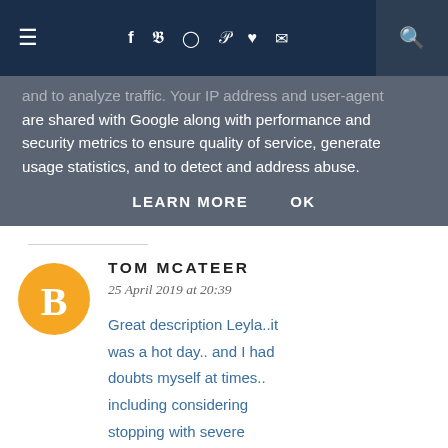Navigation bar with menu, social icons (Facebook, Twitter, Instagram, Pinterest, heart, email), and search
and to analyze traffic. Your IP address and user-agent are shared with Google along with performance and security metrics to ensure quality of service, generate usage statistics, and to detect and address abuse.
LEARN MORE   OK
TOM MCATEER
25 April 2019 at 20:39

Great description Leyla..it was a hot day.. and I had doubts myself at times.. including considering stopping with severe dehydration at the last checkpoint.. you did great to